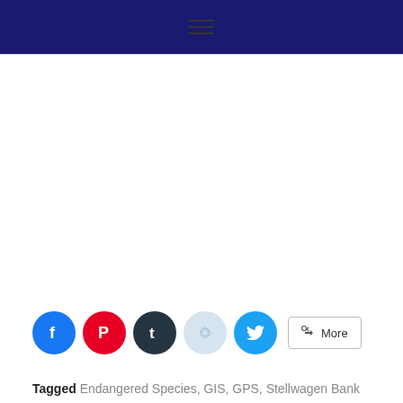Navigation bar with hamburger menu
[Figure (other): Social share buttons: Facebook, Pinterest, Tumblr, Reddit, Twitter, and a More button]
Tagged Endangered Species, GIS, GPS, Stellwagen Bank National Marine Sanctuary, voluntary conservation